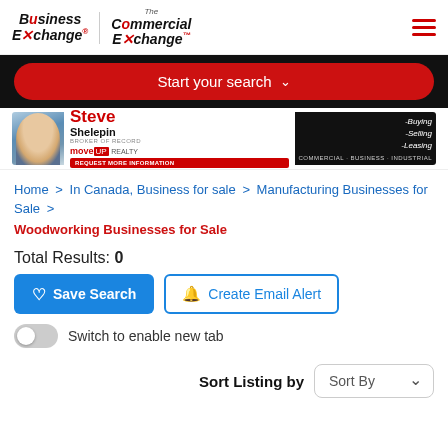[Figure (logo): Business Exchange and The Commercial Exchange logos with hamburger menu]
[Figure (other): Red pill-shaped search button saying 'Start your search' with chevron]
[Figure (other): Ad banner for Steve Shelepin, Broker of Record, moveUP Realty - Commercial Business Industrial]
Home > In Canada, Business for sale > Manufacturing Businesses for Sale > Woodworking Businesses for Sale
Total Results: 0
Save Search
Create Email Alert
Switch to enable new tab
Sort Listing by  Sort By